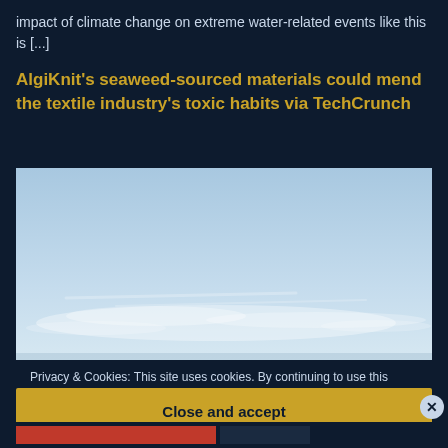impact of climate change on extreme water-related events like this is [...]
AlgiKnit's seaweed-sourced materials could mend the textile industry's toxic habits via TechCrunch
[Figure (photo): Sky photograph — light blue sky with wispy white clouds near the horizon, forming the main image of the AlgiKnit article.]
Privacy & Cookies: This site uses cookies. By continuing to use this website, you agree to their use.
To find out more, including how to control cookies, see here: Cookie Policy
Close and accept